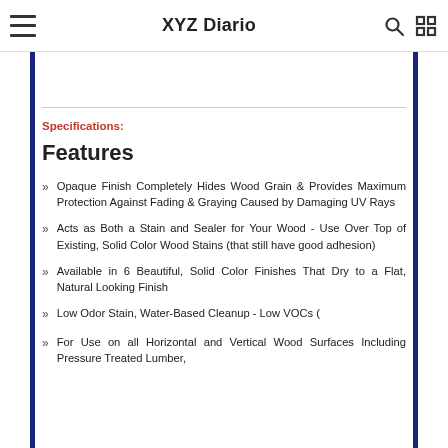XYZ Diario
Specifications:
Features
Opaque Finish Completely Hides Wood Grain & Provides Maximum Protection Against Fading & Graying Caused by Damaging UV Rays
Acts as Both a Stain and Sealer for Your Wood - Use Over Top of Existing, Solid Color Wood Stains (that still have good adhesion)
Available in 6 Beautiful, Solid Color Finishes That Dry to a Flat, Natural Looking Finish
Low Odor Stain, Water-Based Cleanup - Low VOCs (
For Use on all Horizontal and Vertical Wood Surfaces Including Pressure Treated Lumber,